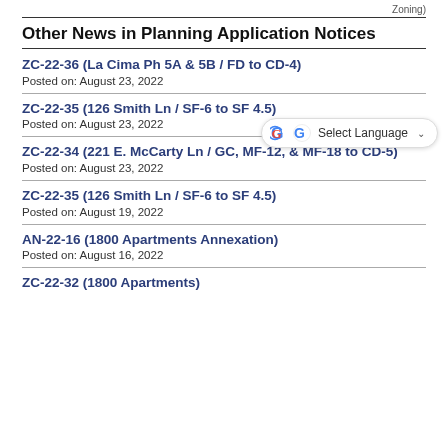Zoning)
Other News in Planning Application Notices
ZC-22-36 (La Cima Ph 5A & 5B / FD to CD-4)
Posted on: August 23, 2022
ZC-22-35 (126 Smith Ln / SF-6 to SF 4.5)
Posted on: August 23, 2022
ZC-22-34 (221 E. McCarty Ln / GC, MF-12, & MF-18 to CD-5)
Posted on: August 23, 2022
ZC-22-35 (126 Smith Ln / SF-6 to SF 4.5)
Posted on: August 19, 2022
AN-22-16 (1800 Apartments Annexation)
Posted on: August 16, 2022
ZC-22-32 (1800 Apartments)